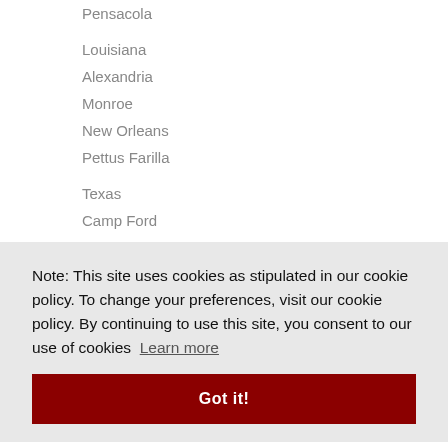Pensacola
Louisiana
Alexandria
Monroe
New Orleans
Pettus Farilla
Texas
Camp Ford
Note: This site uses cookies as stipulated in our cookie policy. To change your preferences, visit our cookie policy. By continuing to use this site, you consent to our use of cookies Learn more
Got it!
Oxford